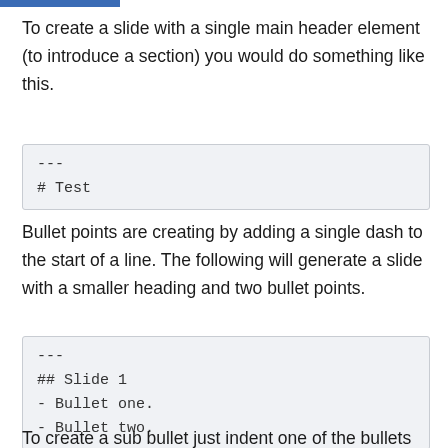To create a slide with a single main header element (to introduce a section) you would do something like this.
---
# Test
Bullet points are creating by adding a single dash to the start of a line. The following will generate a slide with a smaller heading and two bullet points.
---
## Slide 1
- Bullet one.
- Bullet two.
To create a sub bullet just indent one of the bullets by two spaces.